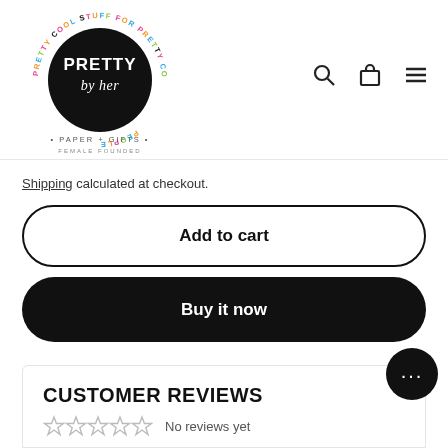[Figure (logo): Pretty by Her circular logo with black circle center, 'PRETTY by her' text, 'PAPER + GIFTS FEMALE FOUNDED' below, colorful text around ring reading 'PRETTY COOL STUFF FOR PRETTY COOL PEOPLE']
Shipping calculated at checkout.
Add to cart
Buy it now
CUSTOMER REVIEWS
No reviews yet